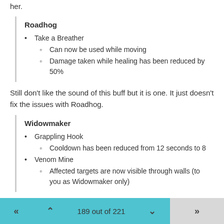her.
Roadhog
Take a Breather
Can now be used while moving
Damage taken while healing has been reduced by 50%
Still don't like the sound of this buff but it is one. It just doesn't fix the issues with Roadhog.
Widowmaker
Grappling Hook
Cooldown has been reduced from 12 seconds to 8
Venom Mine
Affected targets are now visible through walls (to you as Widowmaker only)
I imagine a lot of Widow players are weeping with joy. That grapple buff has been mentioned by just about everyone for a long time. Never made sense to me why it was on such a long cooldown. Seeing
189 out of 221